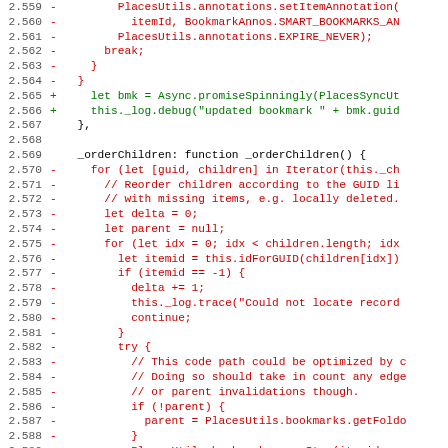[Figure (screenshot): Code diff view showing JavaScript source lines 2.559 through 2.591, with removed lines in red (prefixed with -) and added lines in green (prefixed with +). The code shows bookmark annotation and ordering functions.]